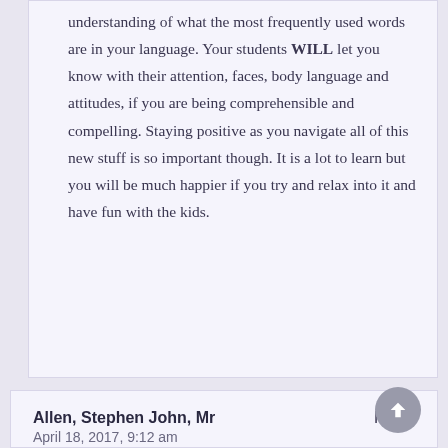understanding of what the most frequently used words are in your language. Your students WILL let you know with their attention, faces, body language and attitudes, if you are being comprehensible and compelling. Staying positive as you navigate all of this new stuff is so important though. It is a lot to learn but you will be much happier if you try and relax into it and have fun with the kids.
Allen, Stephen John, Mr
April 18, 2017, 9:12 am
Reply
Annabelle,